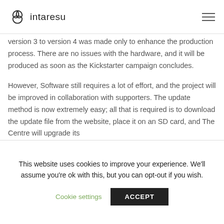intaresu
version 3 to version 4 was made only to enhance the production process. There are no issues with the hardware, and it will be produced as soon as the Kickstarter campaign concludes.
However, Software still requires a lot of effort, and the project will be improved in collaboration with supporters. The update method is now extremely easy; all that is required is to download the update file from the website, place it on an SD card, and The Centre will upgrade its
This website uses cookies to improve your experience. We'll assume you're ok with this, but you can opt-out if you wish.